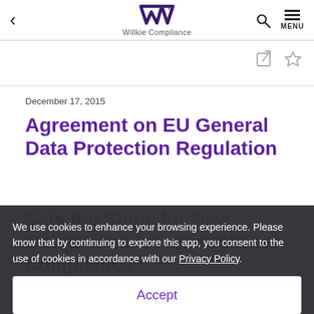Willkie Compliance
December 17, 2015
Agreement on EU General Data Protection Regulation Sets the Stage for New Obligations for International Compliance
We use cookies to enhance your browsing experience. Please know that by continuing to explore this app, you consent to the use of cookies in accordance with our Privacy Policy.